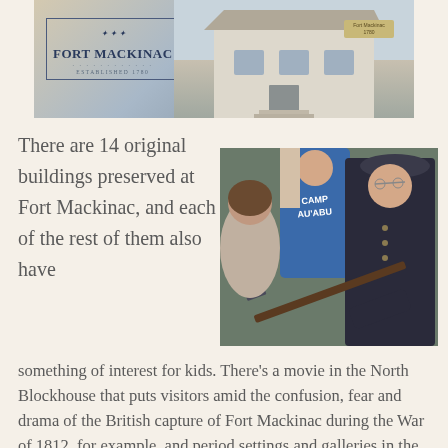[Figure (photo): Top photo showing Fort Mackinac logo on left and historic buildings/structures on right]
There are 14 original buildings preserved at Fort Mackinac, and each of the rest of them also have something of interest for kids. There's a movie in the North Blockhouse that puts visitors amid the confusion, fear and drama of the British capture of Fort Mackinac during the War of 1812, for example, and period settings and galleries in the Office that showcase the training and duties of Fort Mackinac's
[Figure (photo): Photo of a costumed historical interpreter showing a rifle/musket to children, one wearing a blue Camp Au'Able shirt]